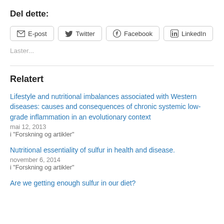Del dette:
E-post  Twitter  Facebook  LinkedIn
Laster...
Relatert
Lifestyle and nutritional imbalances associated with Western diseases: causes and consequences of chronic systemic low-grade inflammation in an evolutionary context
mai 12, 2013
i "Forskning og artikler"
Nutritional essentiality of sulfur in health and disease.
november 6, 2014
i "Forskning og artikler"
Are we getting enough sulfur in our diet?